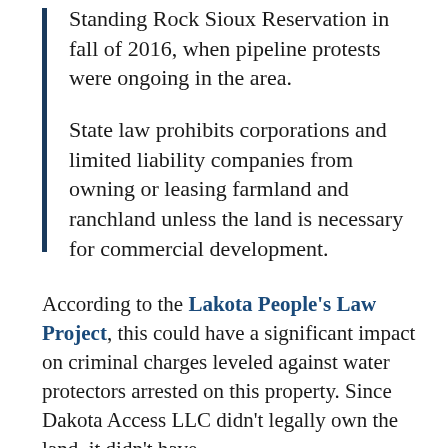Standing Rock Sioux Reservation in fall of 2016, when pipeline protests were ongoing in the area.

State law prohibits corporations and limited liability companies from owning or leasing farmland and ranchland unless the land is necessary for commercial development.
According to the Lakota People's Law Project, this could have a significant impact on criminal charges leveled against water protectors arrested on this property. Since Dakota Access LLC didn't legally own the land, it didn't have